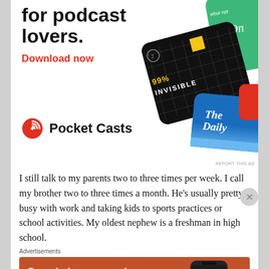[Figure (screenshot): Pocket Casts advertisement showing podcast app cards (99% Invisible, The Daily, One) with headline 'for podcast lovers.' and Download now link and Pocket Casts logo]
I still talk to my parents two to three times per week.  I call my brother two to three times a month.  He's usually pretty busy with work and taking kids to sports practices or school activities.  My oldest nephew is a freshman in high school.
Advertisements
[Figure (screenshot): DuckDuckGo advertisement: 'Search, browse, and email with more privacy. All in One Free App' on orange background with phone showing DuckDuckGo logo]